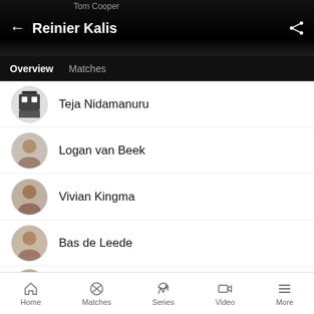Reinier Kalis
Teja Nidamanuru
Logan van Beek
Vivian Kingma
Bas de Leede
Scott Edwards
MORE LINKS
Contracted Players
Home  Matches  Series  Video  More